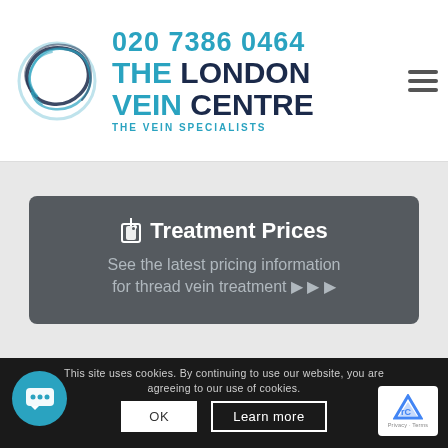[Figure (logo): The London Vein Centre logo with circular brush-stroke design, phone number 020 7386 0464, clinic name THE LONDON VEIN CENTRE, and tagline THE VEIN SPECIALISTS]
🏷 Treatment Prices
See the latest pricing information for thread vein treatment ▶ ▶ ▶
This site uses cookies. By continuing to use our website, you are agreeing to our use of cookies.